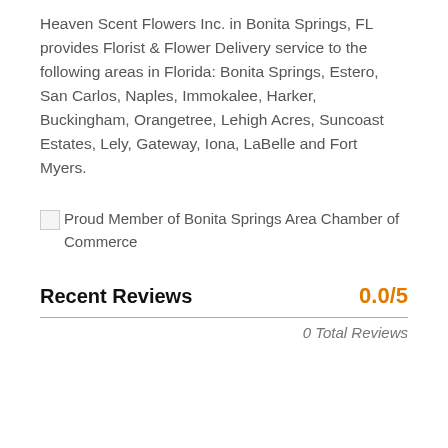Heaven Scent Flowers Inc. in Bonita Springs, FL provides Florist & Flower Delivery service to the following areas in Florida: Bonita Springs, Estero, San Carlos, Naples, Immokalee, Harker, Buckingham, Orangetree, Lehigh Acres, Suncoast Estates, Lely, Gateway, Iona, LaBelle and Fort Myers.
[Figure (illustration): Broken image icon followed by text: Proud Member of Bonita Springs Area Chamber of Commerce]
Recent Reviews
0.0/5
0 Total Reviews